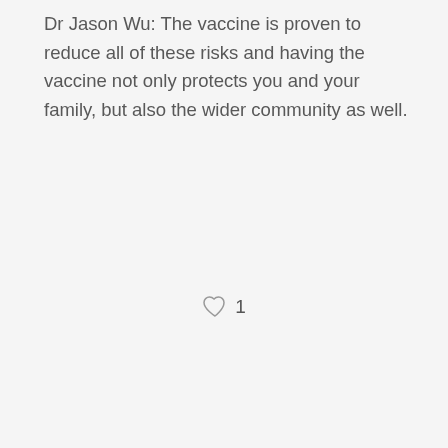Dr Jason Wu: The vaccine is proven to reduce all of these risks and having the vaccine not only protects you and your family, but also the wider community as well.
♡ 1
[Figure (other): Left chevron navigation button inside a light gray circle, indicating 'previous' navigation]
previous
Testing For & Treating STIs (Sexually Transmitted Infections)
Strengthening Care for Children
next
[Figure (other): Dark navy circle button with upward chevron arrow for scroll to top]